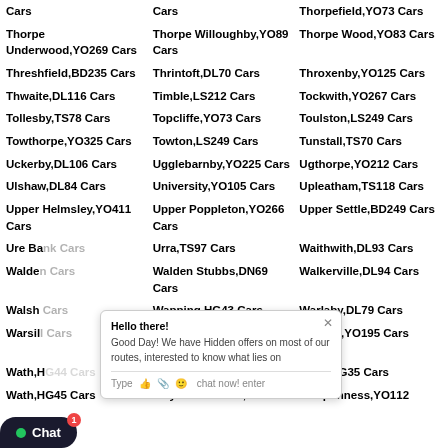Cars
Cars
Thorpefield,YO73 Cars
Thorpe Underwood,YO269 Cars
Thorpe Willoughby,YO89 Cars
Thorpe Wood,YO83 Cars
Threshfield,BD235 Cars
Thrintoft,DL70 Cars
Throxenby,YO125 Cars
Thwaite,DL116 Cars
Timble,LS212 Cars
Tockwith,YO267 Cars
Tollesby,TS78 Cars
Topcliffe,YO73 Cars
Toulston,LS249 Cars
Towthorpe,YO325 Cars
Towton,LS249 Cars
Tunstall,TS70 Cars
Uckerby,DL106 Cars
Ugglebarnby,YO225 Cars
Ugthorpe,YO212 Cars
Ulshaw,DL84 Cars
University,YO105 Cars
Upleatham,TS118 Cars
Upper Helmsley,YO411 Cars
Upper Poppleton,YO266 Cars
Upper Settle,BD249 Cars
Ure Bank Cars
Urra,TS97 Cars
Waithwith,DL93 Cars
Walden Cars
Walden Stubbs,DN69 Cars
Walkerville,DL94 Cars
Walsh Cars
Wapping,HG43 Cars
Warlaby,DL79 Cars
Warsill Cars
Warthermarske,HG44 Cars
Warthill,YO195 Cars
Water End,DL62 Cars
Wath,HG35 Cars
Wayside Terrace,LS170
Weaponness,YO112
Wath,HG45 Cars